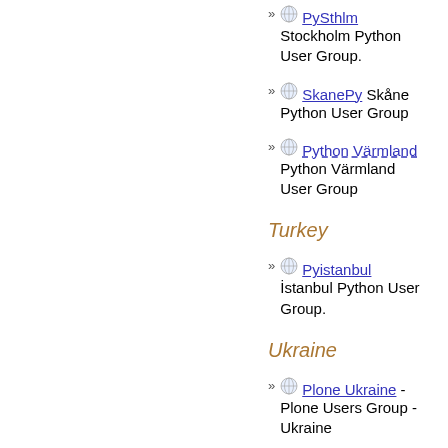PySthlm Stockholm Python User Group.
SkanePy Skåne Python User Group
Python Värmland Python Värmland User Group
Turkey
Pyistanbul İstanbul Python User Group.
Ukraine
Plone Ukraine - Plone Users Group - Ukraine